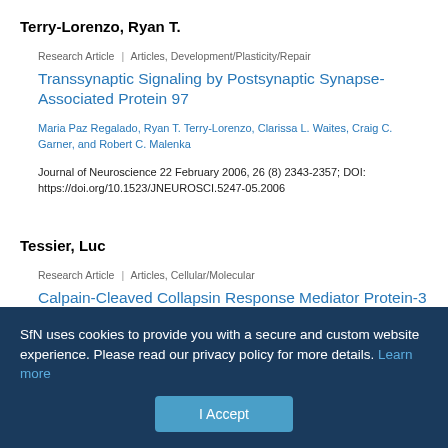Terry-Lorenzo, Ryan T.
Research Article | Articles, Development/Plasticity/Repair
Transsynaptic Signaling by Postsynaptic Synapse-Associated Protein 97
Maria Paz Regalado, Ryan T. Terry-Lorenzo, Clarissa L. Waites, Craig C. Garner, and Robert C. Malenka
Journal of Neuroscience 22 February 2006, 26 (8) 2343-2357; DOI: https://doi.org/10.1523/JNEUROSCI.5247-05.2006
Tessier, Luc
Research Article | Articles, Cellular/Molecular
Calpain-Cleaved Collapsin Response Mediator Protein-3 Induces Neuronal Death after Glutamate Toxicity and Cerebral
SfN uses cookies to provide you with a secure and custom website experience. Please read our privacy policy for more details. Learn more
I Accept